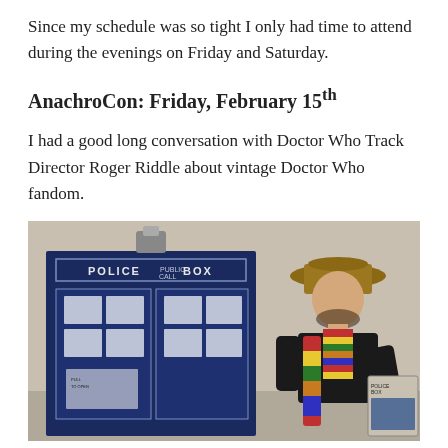Since my schedule was so tight I only had time to attend during the evenings on Friday and Saturday.
AnachroCon: Friday, February 15th
I had a good long conversation with Doctor Who Track Director Roger Riddle about vintage Doctor Who fandom.
[Figure (photo): A person dressed as the Fourth Doctor from Doctor Who, wearing a wide-brimmed hat and a long colorful striped scarf, standing next to a prop TARDIS police box.]